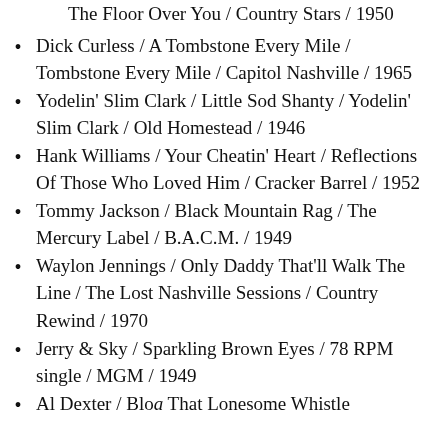The Floor Over You / Country Stars / 1950
Dick Curless / A Tombstone Every Mile / Tombstone Every Mile / Capitol Nashville / 1965
Yodelin' Slim Clark / Little Sod Shanty / Yodelin' Slim Clark / Old Homestead / 1946
Hank Williams / Your Cheatin' Heart / Reflections Of Those Who Loved Him / Cracker Barrel / 1952
Tommy Jackson / Black Mountain Rag / The Mercury Label / B.A.C.M. / 1949
Waylon Jennings / Only Daddy That'll Walk The Line / The Lost Nashville Sessions / Country Rewind / 1970
Jerry & Sky / Sparkling Brown Eyes / 78 RPM single / MGM / 1949
Al Dexter / Bloa That Lonesome Whistle